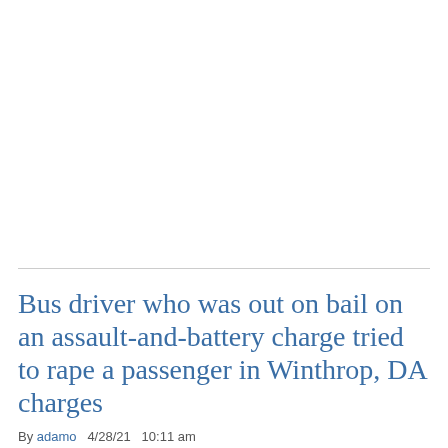Bus driver who was out on bail on an assault-and-battery charge tried to rape a passenger in Winthrop, DA charges
By adamo   4/28/21  10:11 am